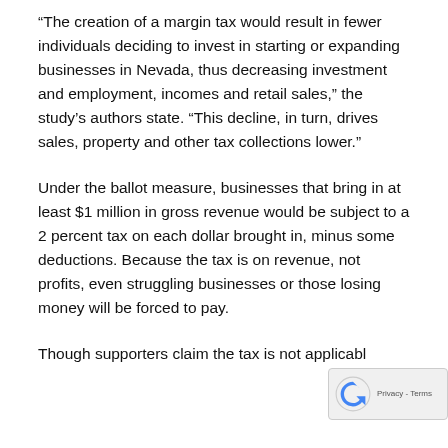“The creation of a margin tax would result in fewer individuals deciding to invest in starting or expanding businesses in Nevada, thus decreasing investment and employment, incomes and retail sales,” the study’s authors state. “This decline, in turn, drives sales, property and other tax collections lower.”
Under the ballot measure, businesses that bring in at least $1 million in gross revenue would be subject to a 2 percent tax on each dollar brought in, minus some deductions. Because the tax is on revenue, not profits, even struggling businesses or those losing money will be forced to pay.
Though supporters claim the tax is not applicable to small businesses, the data suggests otherwise. E...